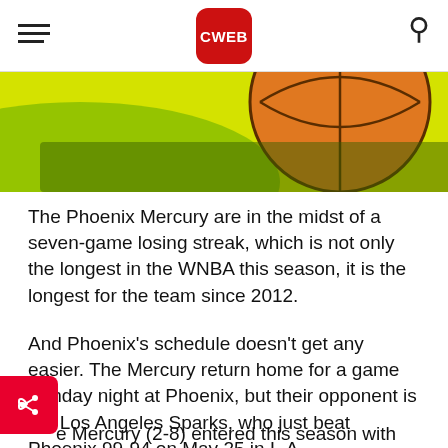CWEB
[Figure (photo): Close-up photo of a basketball with yellow and green background]
The Phoenix Mercury are in the midst of a seven-game losing streak, which is not only the longest in the WNBA this season, it is the longest for the team since 2012.
And Phoenix's schedule doesn't get any easier. The Mercury return home for a game Sunday night at Phoenix, but their opponent is the Los Angeles Sparks, who just beat Phoenix 99-94 on May 25 in L.A.
e Mercury (2-8) entered this season with